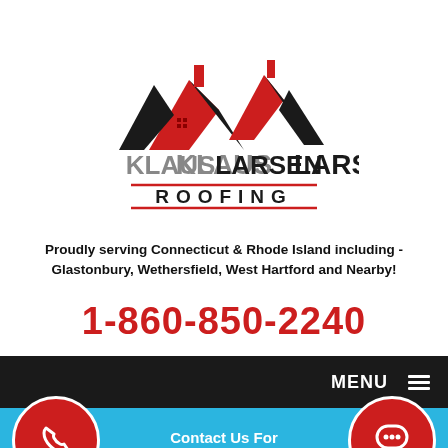[Figure (logo): Klaus Larsen Roofing logo: stylized house roofs in black and red with text KLAUSLARSEN ROOFING]
Proudly serving Connecticut & Rhode Island including - Glastonbury, Wethersfield, West Hartford and Nearby!
1-860-850-2240
MENU
Contact Us For A Free Estimate!